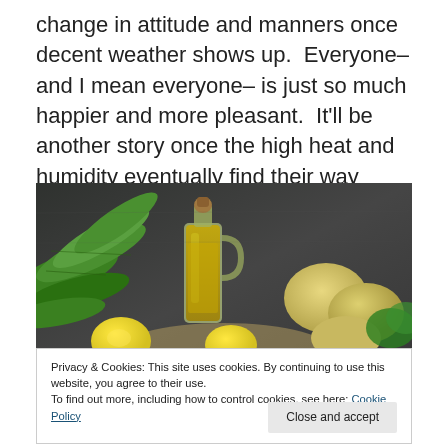change in attitude and manners once decent weather shows up.  Everyone– and I mean everyone– is just so much happier and more pleasant.  It'll be another story once the high heat and humidity eventually find their way here.
[Figure (photo): Photo of food ingredients on a dark surface: green leafy herbs, a glass bottle of olive oil with a cork stopper, yellow lemons, and potatoes with parsley.]
Privacy & Cookies: This site uses cookies. By continuing to use this website, you agree to their use.
To find out more, including how to control cookies, see here: Cookie Policy